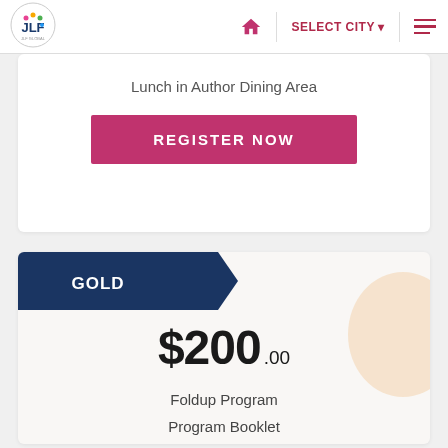JLF — SELECT CITY navigation bar with home icon, select city dropdown, and hamburger menu
Lunch in Author Dining Area
REGISTER NOW
GOLD
$200 .00
Foldup Program
Program Booklet
Official Festival Bag
Beautiful Printed Indian Scarf